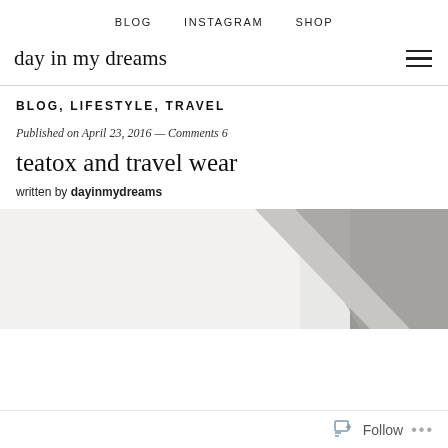BLOG   INSTAGRAM   SHOP
day in my dreams
BLOG, LIFESTYLE, TRAVEL
Published on April 23, 2016 — Comments 6
teatox and travel wear
written by dayinmydreams
[Figure (photo): Hero image split diagonally: left side light grey/white background, right side grey crumpled fabric or textile texture]
Follow ...